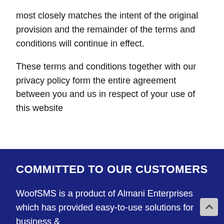most closely matches the intent of the original provision and the remainder of the terms and conditions will continue in effect.
These terms and conditions together with our privacy policy form the entire agreement between you and us in respect of your use of this website
COMMITTED TO OUR CUSTOMERS
WoofSMS is a product of Almani Enterprises which has provided easy-to-use solutions for business &